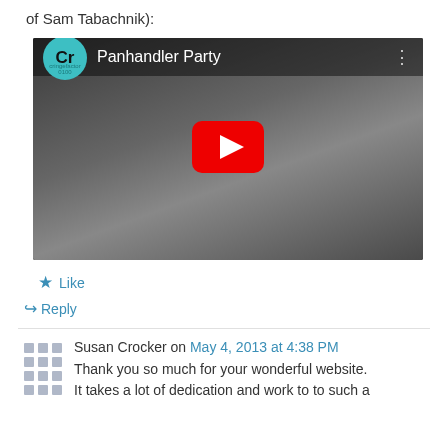of Sam Tabachnik):
[Figure (screenshot): YouTube video thumbnail showing 'Panhandler Party' with a Cr (cringefactor) channel logo, a woman standing in a subway car, and a YouTube play button overlay.]
Like
Reply
Susan Crocker on May 4, 2013 at 4:38 PM
Thank you so much for your wonderful website.
It takes a lot of dedication and work to to such a